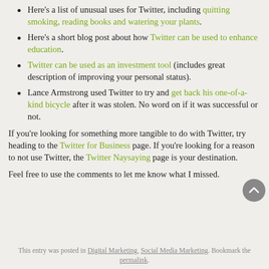Here's a list of unusual uses for Twitter, including quitting smoking, reading books and watering your plants.
Here's a short blog post about how Twitter can be used to enhance education.
Twitter can be used as an investment tool (includes great description of improving your personal status).
Lance Armstrong used Twitter to try and get back his one-of-a-kind bicycle after it was stolen. No word on if it was successful or not.
If you're looking for something more tangible to do with Twitter, try heading to the Twitter for Business page. If you're looking for a reason to not use Twitter, the Twitter Naysaying page is your destination.
Feel free to use the comments to let me know what I missed.
This entry was posted in Digital Marketing, Social Media Marketing. Bookmark the permalink.